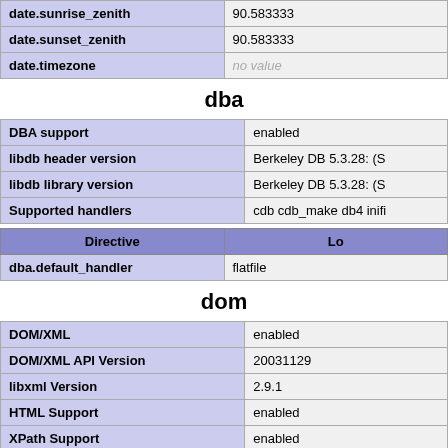| date.sunrise_zenith | 90.583333 |
| date.sunset_zenith | 90.583333 |
| date.timezone | no value |
dba
| DBA support | enabled |
| libdb header version | Berkeley DB 5.3.28: (S |
| libdb library version | Berkeley DB 5.3.28: (S |
| Supported handlers | cdb cdb_make db4 inifi |
| Directive | Lo |
| --- | --- |
| dba.default_handler | flatfile |
dom
| DOM/XML | enabled |
| DOM/XML API Version | 20031129 |
| libxml Version | 2.9.1 |
| HTML Support | enabled |
| XPath Support | enabled |
| XPointer Support | enabled |